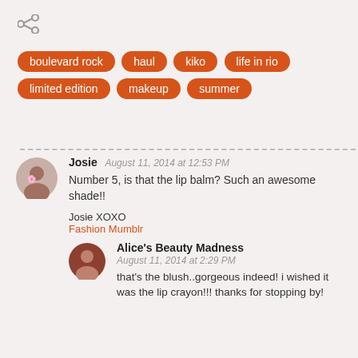[Figure (other): Share icon (less-than symbol representing share)]
boulevard rock
haul
kiko
life in rio
limited edition
makeup
summer
Josie  August 11, 2014 at 12:53 PM
Number 5, is that the lip balm? Such an awesome shade!!

Josie XOXO
Fashion Mumblr
Alice's Beauty Madness  August 11, 2014 at 2:29 PM
that's the blush..gorgeous indeed! i wished it was the lip crayon!!! thanks for stopping by!